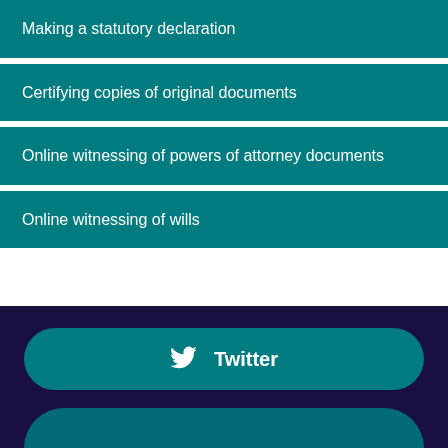Making a statutory declaration
Certifying copies of original documents
Online witnessing of powers of attorney documents
Online witnessing of wills
Twitter